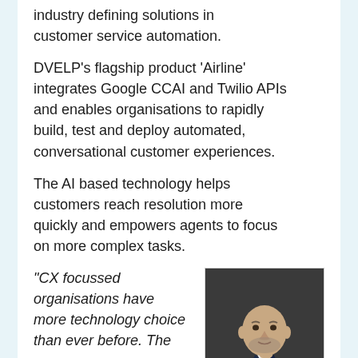industry defining solutions in customer service automation.
DVELP's flagship product 'Airline' integrates Google CCAI and Twilio APIs and enables organisations to rapidly build, test and deploy automated, conversational customer experiences.
The AI based technology helps customers reach resolution more quickly and empowers agents to focus on more complex tasks.
“CX focussed organisations have more technology choice than ever before. The
[Figure (photo): Headshot of a bald man with grey stubble beard wearing a dark navy suit jacket and white shirt, photographed against a dark grey background.]